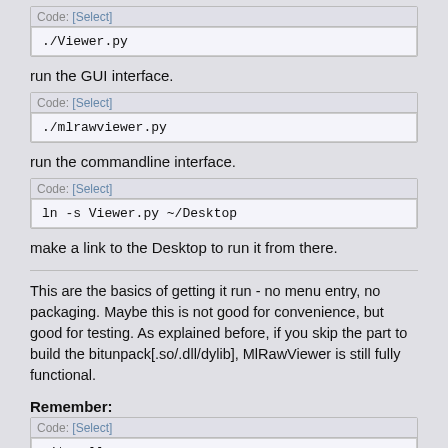Code: [Select]
./Viewer.py
run the GUI interface.
Code: [Select]
./mlrawviewer.py
run the commandline interface.
Code: [Select]
ln -s Viewer.py ~/Desktop
make a link to the Desktop to run it from there.
This are the basics of getting it run - no menu entry, no packaging. Maybe this is not good for convenience, but good for testing. As explained before, if you skip the part to build the bitunpack[.so/.dll/dylib], MlRawViewer is still fully functional.
Remember:
Code: [Select]
git pull